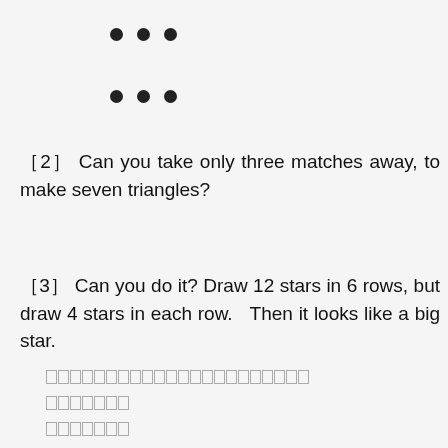[Figure (illustration): Two rows of three filled circles (dots), representing match puzzle positions]
［2］ Can you take only three matches away, to make seven triangles?
［3］ Can you do it? Draw 12 stars in 6 rows, but draw 4 stars in each row.  Then it looks like a big star.
□□□□□□□□□□□□□□□□□□□□□□
□□□□□□□
□□□□□□□